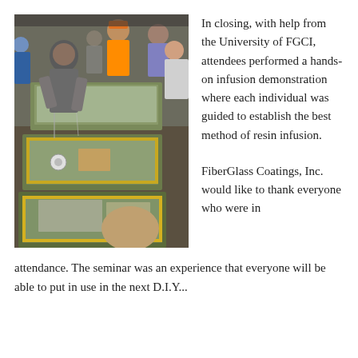[Figure (photo): Group of people gathered around tables performing a hands-on resin infusion demonstration, with vacuum bagged fiberglass layup panels visible on the tables.]
In closing, with help from the University of FGCI, attendees performed a hands-on infusion demonstration where each individual was guided to establish the best method of resin infusion.
FiberGlass Coatings, Inc. would like to thank everyone who were in attendance. The seminar was an experience that everyone will be able to put in use in the next D.I.Y...